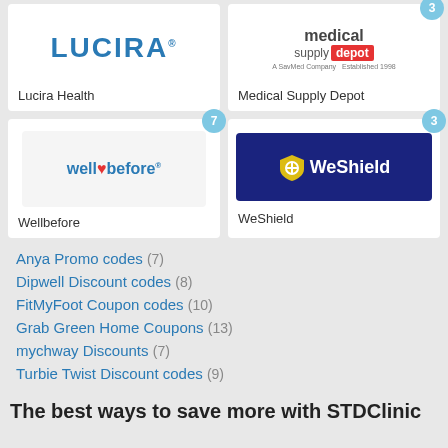[Figure (logo): Lucira Health logo - blue text LUCIRA]
Lucira Health
[Figure (logo): Medical Supply Depot logo]
Medical Supply Depot
[Figure (logo): Wellbefore logo with heart icon, badge number 7]
Wellbefore
[Figure (logo): WeShield logo on dark blue background, badge number 3]
WeShield
Anya Promo codes (7)
Dipwell Discount codes (8)
FitMyFoot Coupon codes (10)
Grab Green Home Coupons (13)
mychway Discounts (7)
Turbie Twist Discount codes (9)
The best ways to save more with STDClinic